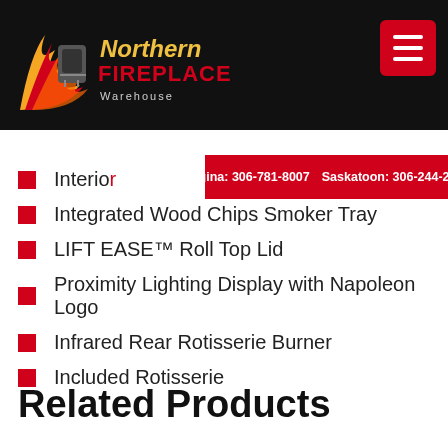[Figure (logo): Northern Fireplace logo with flames on black background]
Regina: 306-781-8007   Saskatoon: 306-244-2774
Interior...
Integrated Wood Chips Smoker Tray
LIFT EASE™ Roll Top Lid
Proximity Lighting Display with Napoleon Logo
Infrared Rear Rotisserie Burner
Included Rotisserie
Related Products